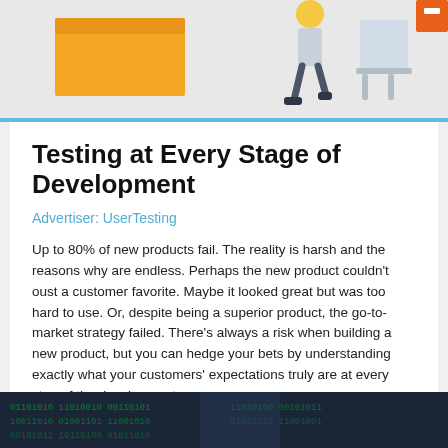[Figure (illustration): Top banner illustration showing a person walking with office/workspace items including orange desk, chair, and box on a light gray background]
Testing at Every Stage of Development
Advertiser: UserTesting
Up to 80% of new products fail. The reality is harsh and the reasons why are endless. Perhaps the new product couldn't oust a customer favorite. Maybe it looked great but was too hard to use. Or, despite being a superior product, the go-to-market strategy failed. There's always a risk when building a new product, but you can hedge your bets by understanding exactly what your customers' expectations truly are at every step of the development process.
[Figure (photo): Bottom dark image showing digital/tech themed background with green binary code elements]